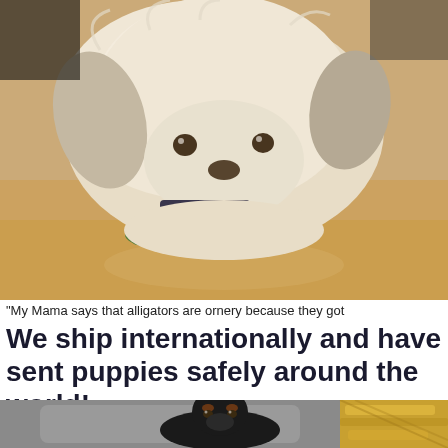[Figure (photo): Small fluffy white dog lying on a wooden floor, chewing on a green alligator-shaped toy.]
"My Mama says that alligators are ornery because they got
We ship internationally and have sent puppies safely around the world!
[Figure (photo): Black dog sitting in a grey dog bed with yellow/tan items visible in the background.]